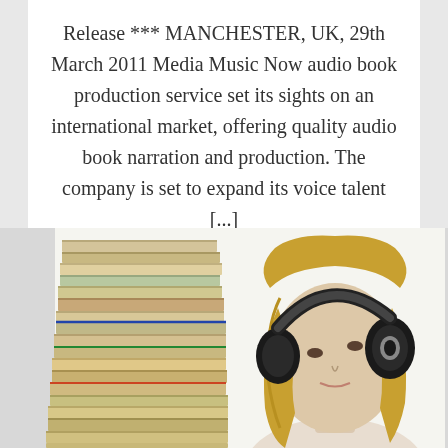Release *** MANCHESTER, UK, 29th March 2011 Media Music Now audio book production service set its sights on an international market, offering quality audio book narration and production. The company is set to expand its voice talent [...]
[Figure (photo): A woman with long blonde hair wearing large black over-ear headphones, looking upward, beside a tall stack of books. White background.]